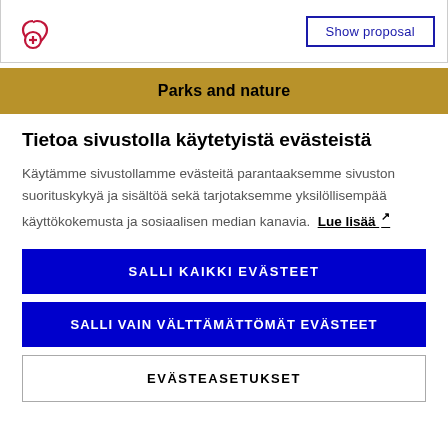[Figure (screenshot): Top bar with a red circular icon with plus sign on left and a 'Show proposal' button outlined in dark blue on the right]
Parks and nature
Tietoa sivustolla käytetyistä evästeistä
Käytämme sivustollamme evästeitä parantaaksemme sivuston suorituskykyä ja sisältöä sekä tarjotaksemme yksilöllisempää käyttökokemusta ja sosiaalisen median kanavia. Lue lisää ↗
SALLI KAIKKI EVÄSTEET
SALLI VAIN VÄLTTÄMÄTTÖMÄT EVÄSTEET
EVÄSTEASETUKSET